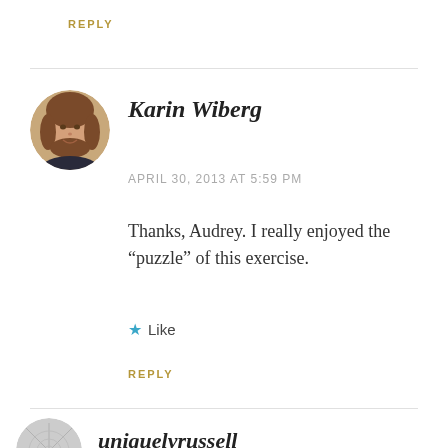REPLY
[Figure (photo): Circular avatar photo of a woman with brown hair, smiling]
Karin Wiberg
APRIL 30, 2013 AT 5:59 PM
Thanks, Audrey. I really enjoyed the “puzzle” of this exercise.
★ Like
REPLY
[Figure (photo): Circular avatar with a grey/white abstract pattern]
uniquelyrussell